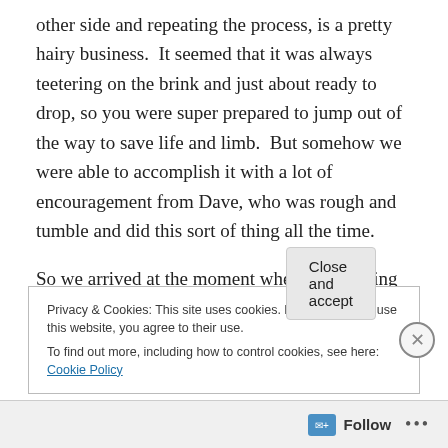other side and repeating the process, is a pretty hairy business.  It seemed that it was always teetering on the brink and just about ready to drop, so you were super prepared to jump out of the way to save life and limb.  But somehow we were able to accomplish it with a lot of encouragement from Dave, who was rough and tumble and did this sort of thing all the time.
So we arrived at the moment when Dave, being our expert driver, very slowly lined up the trailer in front of the first cottage, and with his window open, cigarette dangling from
Privacy & Cookies: This site uses cookies. By continuing to use this website, you agree to their use.
To find out more, including how to control cookies, see here: Cookie Policy
Close and accept
Follow ···